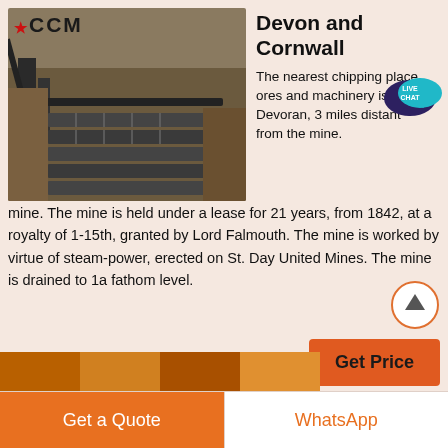[Figure (photo): Aerial view of a mining/quarrying operation with machinery, conveyors, and excavated rock, with CCM logo overlay in top-left corner]
Devon and Cornwall
The nearest chipping place ores and machinery is at Devoran, 3 miles distant from the mine. The mine is held under a lease for 21 years, from 1842, at a royalty of 1-15th, granted by Lord Falmouth. The mine is worked by virtue of steam-power, erected on St. Day United Mines. The mine is drained to 1a fathom level.
[Figure (other): Live Chat speech bubble icon in teal/dark blue]
[Figure (other): Scroll-to-top circular button with upward arrow]
[Figure (other): Get Price orange button]
[Figure (photo): Partial preview of another image at the bottom of the page]
Get a Quote
WhatsApp